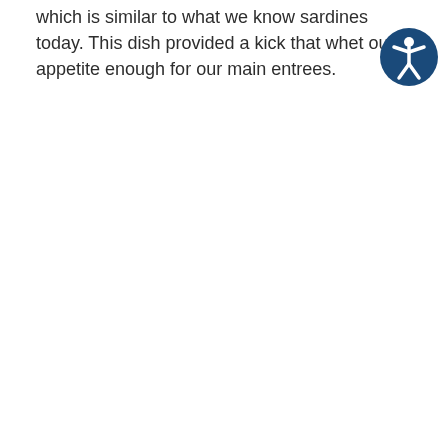which is similar to what we know sardines today. This dish provided a kick that whet our appetite enough for our main entrees.
[Figure (illustration): Accessibility icon: a dark blue circle containing a white stylized human figure with arms outstretched (universal accessibility symbol)]